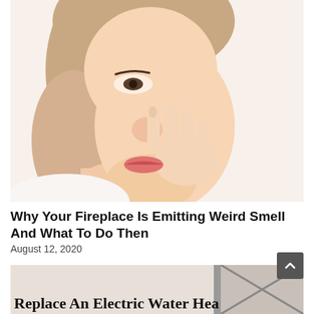[Figure (photo): Close-up side profile photo of a woman pinching her nose with two fingers, suggesting she is smelling something unpleasant. White background.]
Why Your Fireplace Is Emitting Weird Smell And What To Do Then
August 12, 2020
[Figure (photo): Partially visible image of an electric water heater with bold text overlay reading 'Replace An Electric Water Heater']